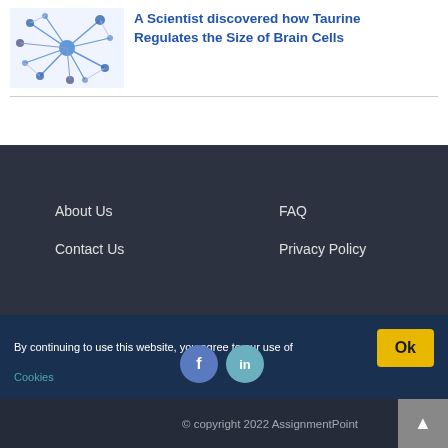[Figure (illustration): Neural network cell illustration with blue nodes and connections on white background]
A Scientist discovered how Taurine Regulates the Size of Brain Cells
About Us
FAQ
Contact Us
Privacy Policy
By continuing to use this website, you agree to our use of Cookies
© copyright 2022 AssignmentPoint